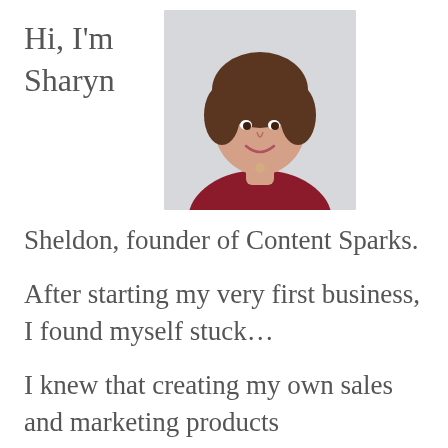Hi, I'm Sharyn
[Figure (photo): Portrait photo of a smiling woman with short brown hair wearing a dark red/maroon top, light background.]
Sheldon, founder of Content Sparks.
After starting my very first business, I found myself stuck…
I knew that creating my own sales and marketing products